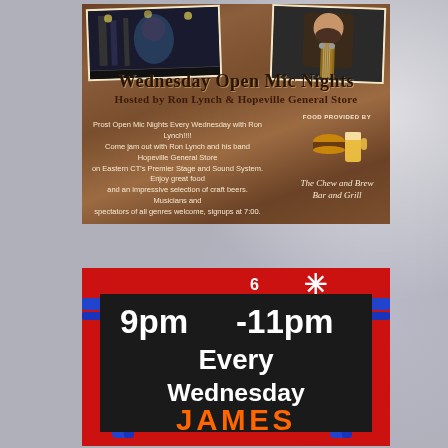[Figure (illustration): Wednesday Open Mic Nights flyer with wood background. Features two photos at top (concert scene and man holding guitar), decorative medieval-style title text 'Wednesday Open Mic Nights Hosted by Ron Lynch & Hopeville General Store', body text about open mic event, and food provider logo for The Chew and Brew Bar and Grill.]
[Figure (illustration): Red background event flyer with blue painted strokes and black center box. Shows '9pm-11pm Every Wednesday JAMES' with moon icon, asterisk decoration, and number 6 design element. Orange text for JAMES.]